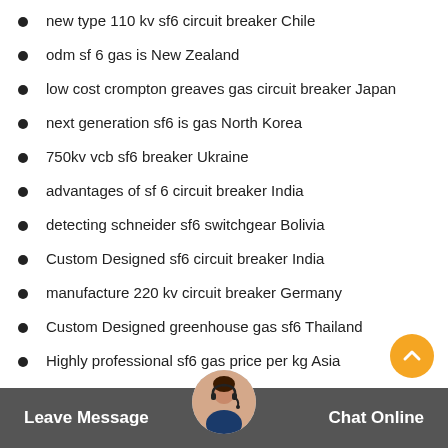new type 110 kv sf6 circuit breaker Chile
odm sf 6 gas is New Zealand
low cost crompton greaves gas circuit breaker Japan
next generation sf6 is gas North Korea
750kv vcb sf6 breaker Ukraine
advantages of sf 6 circuit breaker India
detecting schneider sf6 switchgear Bolivia
Custom Designed sf6 circuit breaker India
manufacture 220 kv circuit breaker Germany
Custom Designed greenhouse gas sf6 Thailand
Highly professional sf6 gas price per kg Asia
oem dilo gas Indonesia
next generation siemens 220 kv circuit breaker Chile
wholesale sf6 gas manufacturers Ecuador
Leave Message  Chat Online